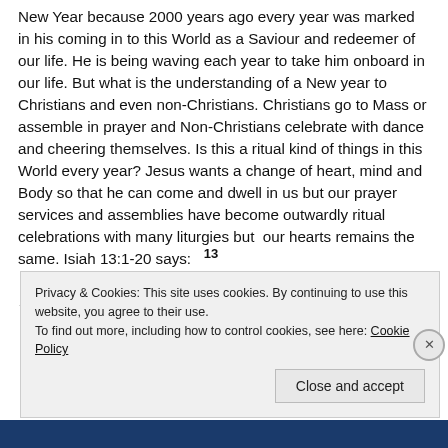New Year because 2000 years ago every year was marked in his coming in to this World as a Saviour and redeemer of our life. He is being waving each year to take him onboard in our life. But what is the understanding of a New year to Christians and even non-Christians. Christians go to Mass or assemble in prayer and Non-Christians celebrate with dance and cheering themselves. Is this a ritual kind of things in this World every year? Jesus wants a change of heart, mind and Body so that he can come and dwell in us but our prayer services and assemblies have become outwardly ritual celebrations with many liturgies but our hearts remains the same. Isiah 13:1-20 says: 13 Stop bringing meaningless offerings! Your incense is detestable to me
Privacy & Cookies: This site uses cookies. By continuing to use this website, you agree to their use. To find out more, including how to control cookies, see here: Cookie Policy
Close and accept